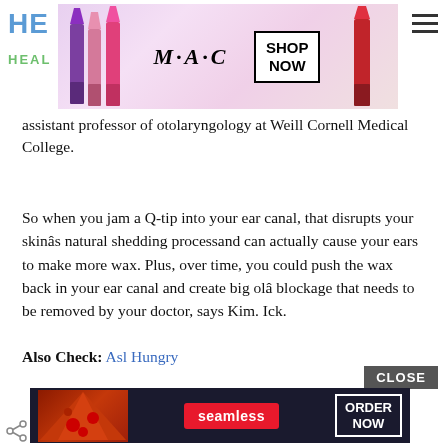[Figure (screenshot): Page header with partial logo 'HE' in blue and 'HEAL' in green, MAC cosmetics advertisement banner with lipsticks and SHOP NOW box, hamburger menu icon]
assistant professor of otolaryngology at Weill Cornell Medical College.
So when you jam a Q-tip into your ear canal, that disrupts your skinâs natural shedding processand can actually cause your ears to make more wax. Plus, over time, you could push the wax back in your ear canal and create big olâ blockage that needs to be removed by your doctor, says Kim. Ick.
Also Check: Asl Hungry
Don't Miss: How Do You Say Black In Sign Language
[Figure (screenshot): Bottom advertisement for Seamless food ordering with pizza image, Seamless logo in red, and ORDER NOW box with CLOSE button]